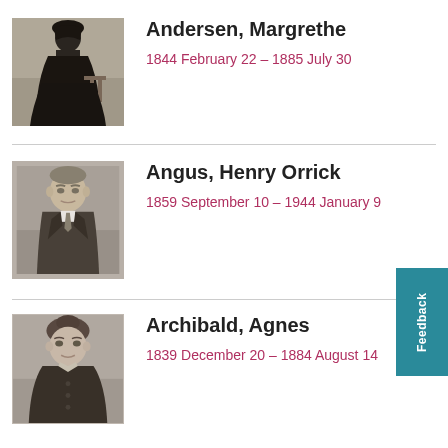[Figure (photo): Black and white vintage portrait photograph of Margrethe Andersen, a woman in dark Victorian dress standing beside a table]
Andersen, Margrethe
1844 February 22 – 1885 July 30
[Figure (photo): Black and white vintage portrait photograph of Henry Orrick Angus, a man in a suit]
Angus, Henry Orrick
1859 September 10 – 1944 January 9
[Figure (photo): Black and white vintage portrait photograph of Agnes Archibald, a woman with her hair up]
Archibald, Agnes
1839 December 20 – 1884 August 14